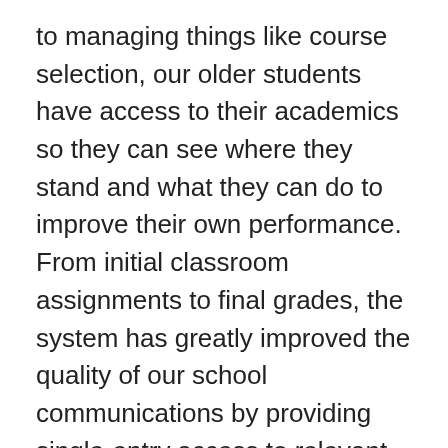to managing things like course selection, our older students have access to their academics so they can see where they stand and what they can do to improve their own performance. From initial classroom assignments to final grades, the system has greatly improved the quality of our school communications by providing single-entry access to relevant information and performance indicators. This system has truly moved the Ridgewood Public Schools forward in the area of SIS.

We feel that our SIS surpasses districts' needs